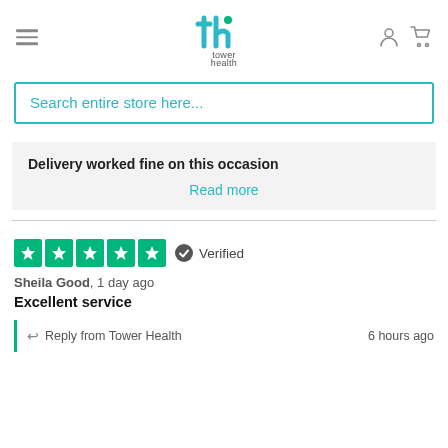[Figure (logo): Tower Health logo with stylized 'th' icon in teal/green and grey text below reading 'tower health']
Search entire store here...
Delivery worked fine on this occasion
Read more
[Figure (other): Five green star rating boxes with white stars inside, indicating 5-star rating. Verified badge with checkmark icon and text 'Verified'.]
Sheila Good, 1 day ago
Excellent service
Reply from Tower Health    6 hours ago